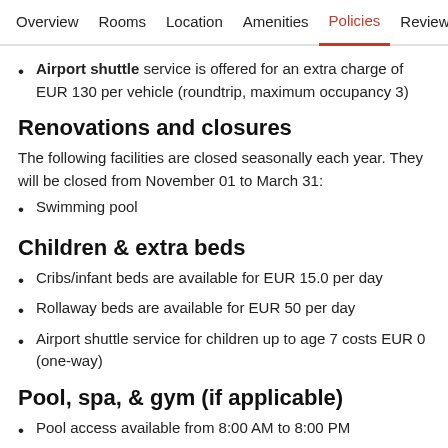Overview  Rooms  Location  Amenities  Policies  Reviews
Airport shuttle service is offered for an extra charge of EUR 130 per vehicle (roundtrip, maximum occupancy 3)
Renovations and closures
The following facilities are closed seasonally each year. They will be closed from November 01 to March 31:
Swimming pool
Children & extra beds
Cribs/infant beds are available for EUR 15.0 per day
Rollaway beds are available for EUR 50 per day
Airport shuttle service for children up to age 7 costs EUR 0 (one-way)
Pool, spa, & gym (if applicable)
Pool access available from 8:00 AM to 8:00 PM